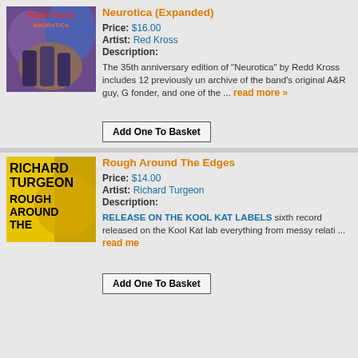Neurotica (Expanded)
Price: $16.00
Artist: Red Kross
Description:
The 35th anniversary edition of "Neurotica" by Redd Kross includes 12 previously un archive of the band's original A&R guy, G fonder, and one of the ... read more »
Add One To Basket
Rough Around The Edges
Price: $14.00
Artist: Richard Turgeon
Description:
RELEASE ON THE KOOL KAT LABELS sixth record released on the Kool Kat lab everything from messy relati ... read me
Add One To Basket